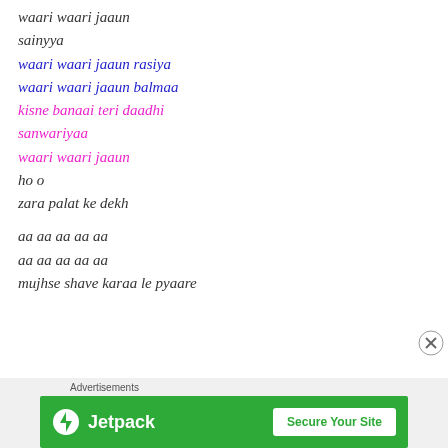waari waari jaaun
sainyya
waari waari jaaun rasiya
waari waari jaaun balmaa
kisne banaai teri daadhi
sanwariyaa
waari waari jaaun
ho o
zara palat ke dekh
aa aa aa aa aa
aa aa aa aa aa
mujhse shave karaa le pyaare
[Figure (screenshot): Jetpack advertisement banner with green background, Jetpack logo and 'Secure Your Site' button]